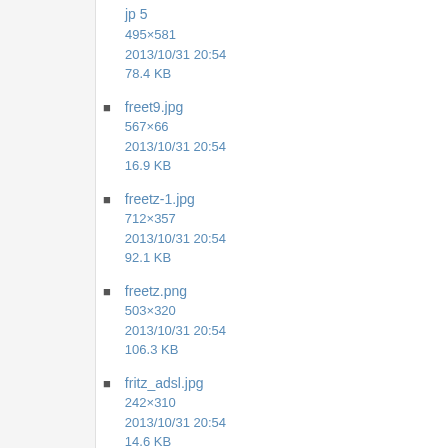jp 5
495×581
2013/10/31 20:54
78.4 KB
freet9.jpg
567×66
2013/10/31 20:54
16.9 KB
freetz-1.jpg
712×357
2013/10/31 20:54
92.1 KB
freetz.png
503×320
2013/10/31 20:54
106.3 KB
fritz_adsl.jpg
242×310
2013/10/31 20:54
14.6 KB